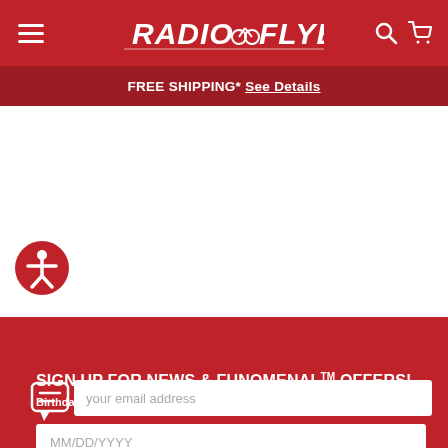Radio Flyer - FREE SHIPPING* See Details
SIGN UP FOR NEWS & FUNOMENAL™ OFFERS! Birthdate is required to comply with FTC regulations
your email address
MM/DD/YYYY